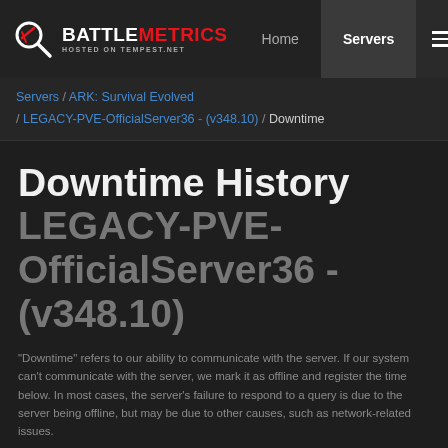BATTLEMETRICS HOSTED ON TEMPEST.NET | Home | Servers
Servers / ARK: Survival Evolved / LEGACY-PVE-OfficialServer36 - (v348.10) / Downtime
Downtime History LEGACY-PVE-OfficialServer36 - (v348.10)
"Downtime" refers to our ability to communicate with the server. If our system can't communicate with the server, we mark it as offline and register the time below. In most cases, the server's failure to respond to a query is due to the server being offline, but may be due to other causes, such as network-related issues.
30 Day History
| 12:00 AM | 6:00 AM | 12:00 PM | 6:00 PM |
| --- | --- | --- | --- |